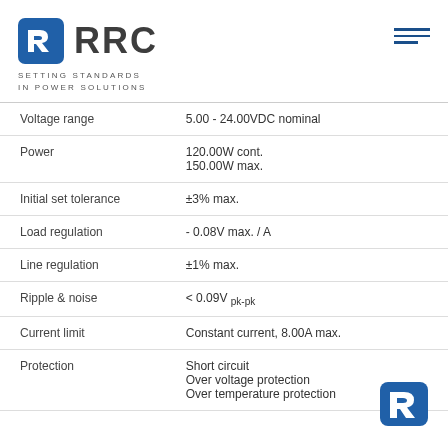[Figure (logo): RRC Power Solutions logo with blue square icon and 'RRC' text, tagline 'SETTING STANDARDS IN POWER SOLUTIONS']
| Parameter | Value |
| --- | --- |
| Voltage range | 5.00 - 24.00VDC nominal |
| Power | 120.00W cont.
150.00W max. |
| Initial set tolerance | ±3% max. |
| Load regulation | - 0.08V max. / A |
| Line regulation | ±1% max. |
| Ripple & noise | < 0.09V pk-pk |
| Current limit | Constant current, 8.00A max. |
| Protection | Short circuit
Over voltage protection
Over temperature protection |
[Figure (logo): Small blue RRC icon at bottom right corner]